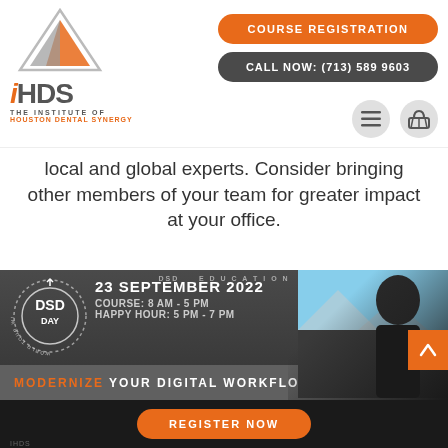[Figure (logo): iHDS The Institute of Houston Dental Synergy logo with orange triangle/sail graphic]
COURSE REGISTRATION
CALL NOW: (713) 589 9603
local and global experts. Consider bringing other members of your team for greater impact at your office.
[Figure (infographic): DSD Day World Tour with Coachman event banner. Date: 23 SEPTEMBER 2022. COURSE: 8 AM - 5 PM. HAPPY HOUR: 5 PM - 7 PM. MODERNIZE YOUR DIGITAL WORKFLOW. REGISTER NOW button. Man in black shirt on right side.]